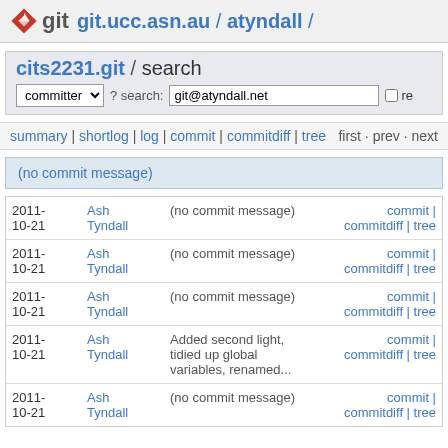git  git.ucc.asn.au / atyndall /
cits2231.git / search  committer ? search: git@atyndall.net  re
summary | shortlog | log | commit | commitdiff | tree  first · prev · next
(no commit message)
| Date | Author | Message | Links |
| --- | --- | --- | --- |
| 2011-10-21 | Ash Tyndall | (no commit message) | commit | commitdiff | tree |
| 2011-10-21 | Ash Tyndall | (no commit message) | commit | commitdiff | tree |
| 2011-10-21 | Ash Tyndall | (no commit message) | commit | commitdiff | tree |
| 2011-10-21 | Ash Tyndall | Added second light, tidied up global variables, renamed... | commit | commitdiff | tree |
| 2011-10-21 | Ash Tyndall | (no commit message) | commit | commitdiff | tree |